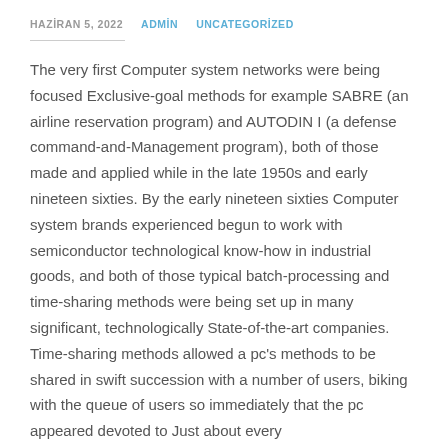HAZİRAN 5, 2022   ADMİN   UNCATEGORİZED
The very first Computer system networks were being focused Exclusive-goal methods for example SABRE (an airline reservation program) and AUTODIN I (a defense command-and-Management program), both of those made and applied while in the late 1950s and early nineteen sixties. By the early nineteen sixties Computer system brands experienced begun to work with semiconductor technological know-how in industrial goods, and both of those typical batch-processing and time-sharing methods were being set up in many significant, technologically State-of-the-art companies. Time-sharing methods allowed a pc's methods to be shared in swift succession with a number of users, biking with the queue of users so immediately that the pc appeared devoted to Just about every